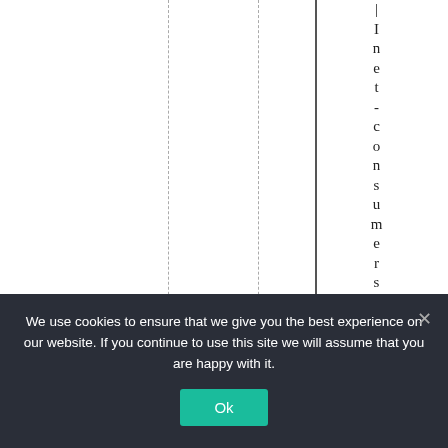Inet-consumers of e
We use cookies to ensure that we give you the best experience on our website. If you continue to use this site we will assume that you are happy with it.